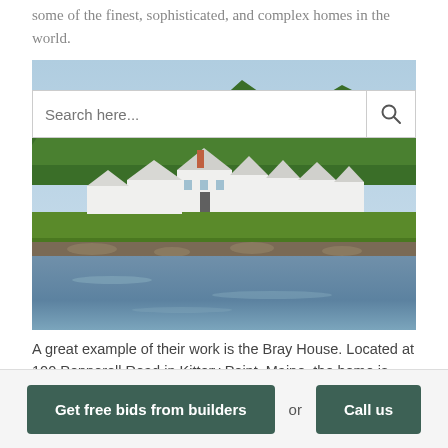some of the finest, sophisticated, and complex homes in the world.
[Figure (photo): Photograph of the Bray House at 100 Pepperell Road in Kittery Point, Maine — a large white multi-gabled estate set on a green lawn at the waterfront, with dense trees behind and a body of water in the foreground.]
A great example of their work is the Bray House. Located at 100 Pepperell Road in Kittery Point, Maine, the home is one of the
Get free bids from builders
or
Call us